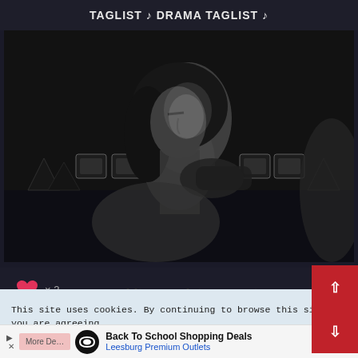TAGLIST ♪ DRAMA TAGLIST ♪
[Figure (photo): Black and white dramatic photo of a person tilting their head back with eyes closed, a hand reaching toward their throat/neck, theatrical lighting with glowing squares visible in dark background, dramatic scene]
× 2
This site uses cookies. By continuing to browse this site, you are agreeing to our use of cookies.
Back To School Shopping Deals Leesburg Premium Outlets